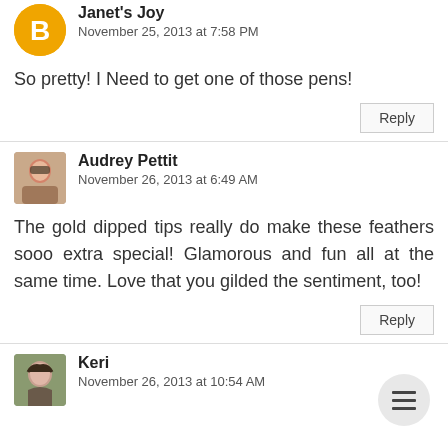[Figure (illustration): Orange circle blogger avatar icon with letter B]
Janet's Joy
November 25, 2013 at 7:58 PM
So pretty! I Need to get one of those pens!
Reply
[Figure (photo): Small photo of Audrey Pettit, a woman with glasses]
Audrey Pettit
November 26, 2013 at 6:49 AM
The gold dipped tips really do make these feathers sooo extra special! Glamorous and fun all at the same time. Love that you gilded the sentiment, too!
Reply
[Figure (photo): Small photo of Keri, a woman with dark hair]
Keri
November 26, 2013 at 10:54 AM